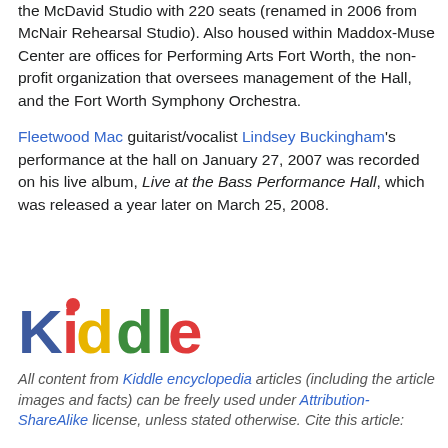the McDavid Studio with 220 seats (renamed in 2006 from McNair Rehearsal Studio). Also housed within Maddox-Muse Center are offices for Performing Arts Fort Worth, the non-profit organization that oversees management of the Hall, and the Fort Worth Symphony Orchestra.
Fleetwood Mac guitarist/vocalist Lindsey Buckingham's performance at the hall on January 27, 2007 was recorded on his live album, Live at the Bass Performance Hall, which was released a year later on March 25, 2008.
[Figure (logo): Kiddle logo — colorful text logo spelling 'Kiddle' with letters in blue, red, yellow, green, red, blue, green colors]
All content from Kiddle encyclopedia articles (including the article images and facts) can be freely used under Attribution-ShareAlike license, unless stated otherwise. Cite this article: